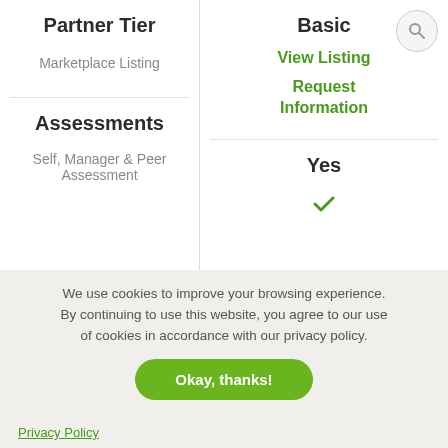Partner Tier
Marketplace Listing
Basic
View Listing
Request Information
Assessments
Self, Manager & Peer Assessment
Yes
We use cookies to improve your browsing experience. By continuing to use this website, you agree to our use of cookies in accordance with our privacy policy.
Okay, thanks!
Privacy Policy